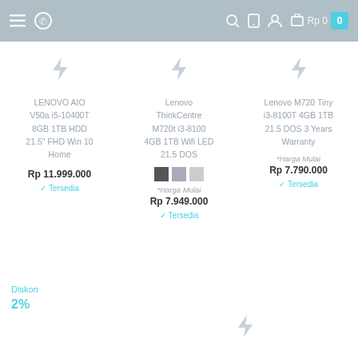Navigation bar with menu, WhatsApp, search, mobile, account, cart icons. Cart: Rp 0, quantity 0
[Figure (other): Lightning bolt placeholder icon for product 1]
LENOVO AIO V50a i5-10400T 8GB 1TB HDD 21.5" FHD Win 10 Home
Rp 11.999.000
✓ Tersedia
[Figure (other): Lightning bolt placeholder icon for product 2]
Lenovo ThinkCentre M720t i3-8100 4GB 1TB Wifi LED 21.5 DOS
[Figure (other): Color swatches: dark grey, light grey, lighter grey]
*Harga Mulai
Rp 7.949.000
✓ Tersedia
[Figure (other): Lightning bolt placeholder icon for product 3]
Lenovo M720 Tiny i3-8100T 4GB 1TB 21.5 DOS 3 Years Warranty
*Harga Mulai
Rp 7.790.000
✓ Tersedia
Diskon
2%
[Figure (other): Lightning bolt placeholder icon at bottom]